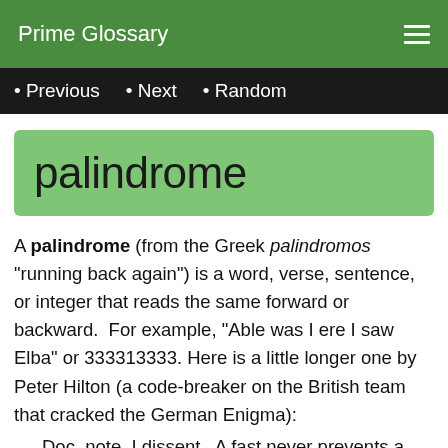Prime Glossary
• Previous  • Next  • Random
palindrome
A palindrome (from the Greek palindromos "running back again") is a word, verse, sentence, or integer that reads the same forward or backward.  For example, "Able was I ere I saw Elba" or 333313333.  Here is a little longer one by Peter Hilton (a code-breaker on the British team that cracked the German Enigma):
Doc, note. I dissent.  A fast never prevents a fatness.  I diet on cod.